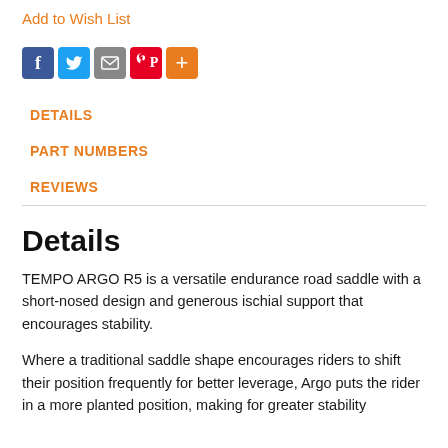Add to Wish List
[Figure (other): Social sharing icons: Facebook, Twitter, Email, Pinterest, More]
DETAILS
PART NUMBERS
REVIEWS
Details
TEMPO ARGO R5 is a versatile endurance road saddle with a short-nosed design and generous ischial support that encourages stability.
Where a traditional saddle shape encourages riders to shift their position frequently for better leverage, Argo puts the rider in a more planted position, making for greater stability